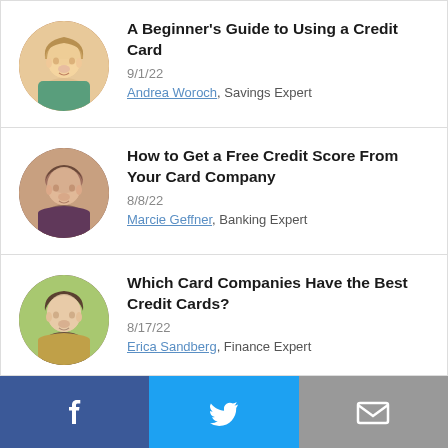A Beginner's Guide to Using a Credit Card
9/1/22
Andrea Woroch, Savings Expert
How to Get a Free Credit Score From Your Card Company
8/8/22
Marcie Geffner, Banking Expert
Which Card Companies Have the Best Credit Cards?
8/17/22
Erica Sandberg, Finance Expert
Facebook | Twitter | Email